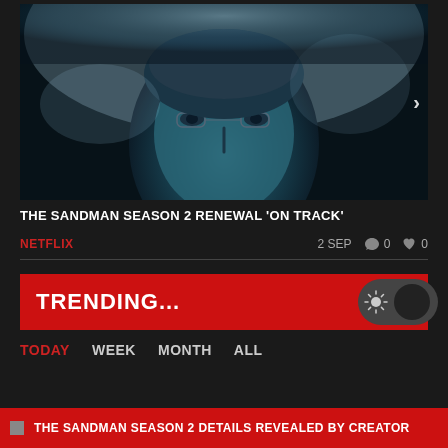[Figure (photo): Close-up of a man's face with blue teal atmospheric lighting, with navigation arrow on right]
THE SANDMAN SEASON 2 RENEWAL ‘ON TRACK’
NETFLIX   2 SEP   0 comments   0 likes
TRENDING...
TODAY   WEEK   MONTH   ALL
THE SANDMAN SEASON 2 DETAILS REVEALED BY CREATOR